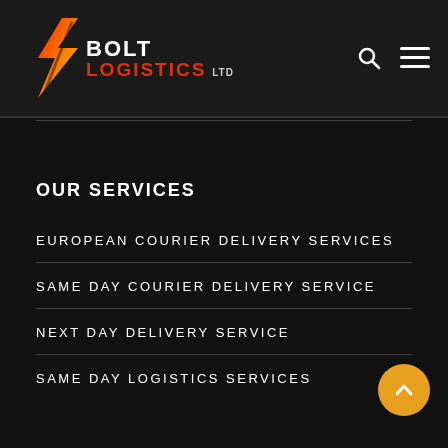[Figure (logo): Bolt Logistics LTD logo with lightning bolt icon in red/orange/yellow gradient, white text BOLT, red text LOGISTICS, grey LTD]
OUR SERVICES
EUROPEAN COURIER DELIVERY SERVICES
SAME DAY COURIER DELIVERY SERVICE
NEXT DAY DELIVERY SERVICE
SAME DAY LOGISTICS SERVICES